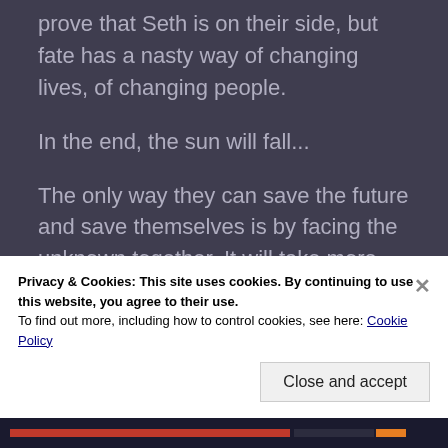prove that Seth is on their side, but fate has a nasty way of changing lives, of changing people.

In the end, the sun will fall...

The only way they can save the future and save themselves is by facing the unknown together. It will take more than trust and faith. It will take love and the kind of strength not easily broken. No
Privacy & Cookies: This site uses cookies. By continuing to use this website, you agree to their use.
To find out more, including how to control cookies, see here: Cookie Policy